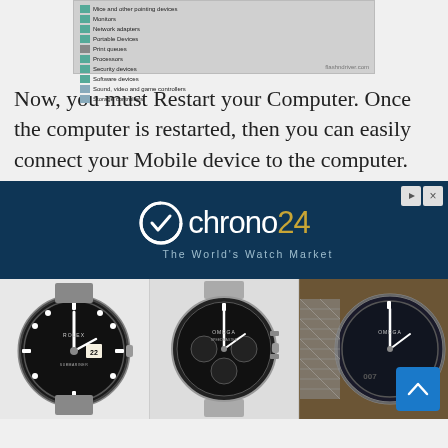[Figure (screenshot): Windows Device Manager screenshot showing list items: Mice and other pointing devices, Monitors, Network adapters, Portable Devices, Print queues, Processors, Security devices, Software devices, Sound video and game controllers, Storage controllers. Watermark: flashndriver.com]
Now, you must Restart your Computer. Once the computer is restarted, then you can easily connect your Mobile device to the computer.
[Figure (screenshot): Advertisement banner for Chrono24 - The World's Watch Market on dark navy background, with play and close buttons in top right. Below shows three luxury watch photos: Rolex Submariner (black dial), Omega Speedmaster chronograph, and a 007 edition Omega Seamaster.]